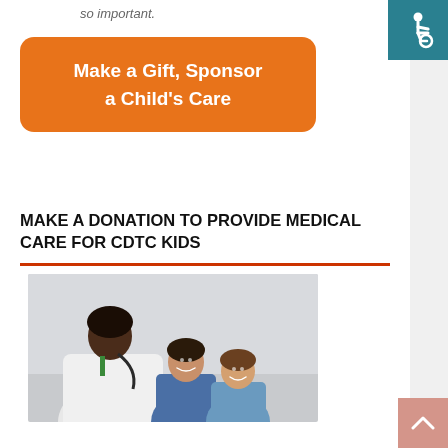so important.
[Figure (logo): Accessibility wheelchair icon on teal/dark cyan background, top right corner]
Make a Gift, Sponsor a Child's Care
MAKE A DONATION TO PROVIDE MEDICAL CARE FOR CDTC KIDS
[Figure (photo): A doctor in a white coat with a stethoscope examines or interacts with two smiling young children.]
[Figure (other): Back-to-top button with upward arrow, salmon/pink background, bottom right]